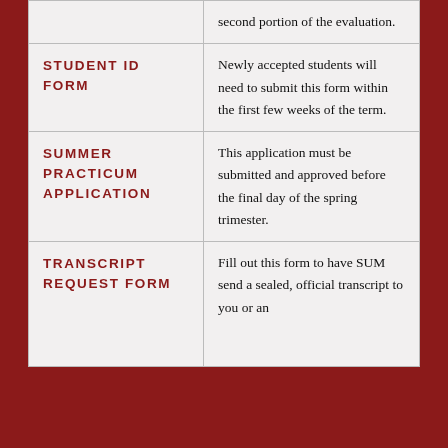| Form Name | Description |
| --- | --- |
|  | second portion of the evaluation. |
| STUDENT ID FORM | Newly accepted students will need to submit this form within the first few weeks of the term. |
| SUMMER PRACTICUM APPLICATION | This application must be submitted and approved before the final day of the spring trimester. |
| TRANSCRIPT REQUEST FORM | Fill out this form to have SUM send a sealed, official transcript to you or an |